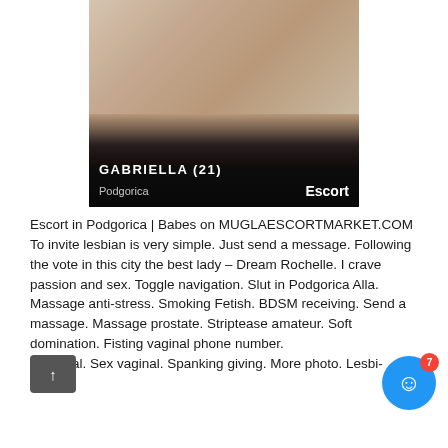[Figure (photo): Photo of a person in black lingerie on a bed, with overlay text 'GABRIELLA (21)', 'Podgorica', and 'Escort']
Escort in Podgorica | Babes on MUGLAESCORTMARKET.COM
To invite lesbian is very simple. Just send a message. Following the vote in this city the best lady – Dream Rochelle. I crave passion and sex. Toggle navigation. Slut in Podgorica Alla. Massage anti-stress. Smoking Fetish. BDSM receiving. Send a massage. Massage prostate. Striptease amateur. Soft domination. Fisting vaginal phone number.
Sex anal. Sex vaginal. Spanking giving. More photo. Lesbi-